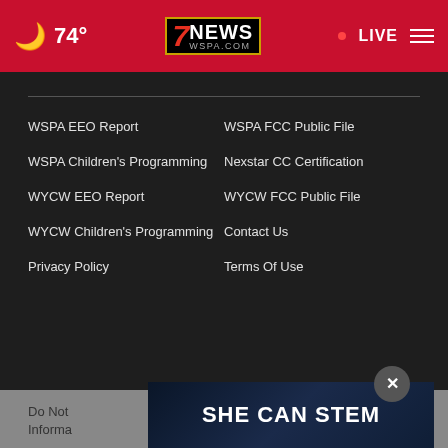74° | 7NEWS WSPA.COM | LIVE
WSPA EEO Report
WSPA FCC Public File
WSPA Children's Programming
Nexstar CC Certification
WYCW EEO Report
WYCW FCC Public File
WYCW Children's Programming
Contact Us
Privacy Policy
Terms Of Use
Do Not Sell or Share My Personal Information
[Figure (advertisement): SHE CAN STEM advertisement banner with dark blue/navy background and bold white text]